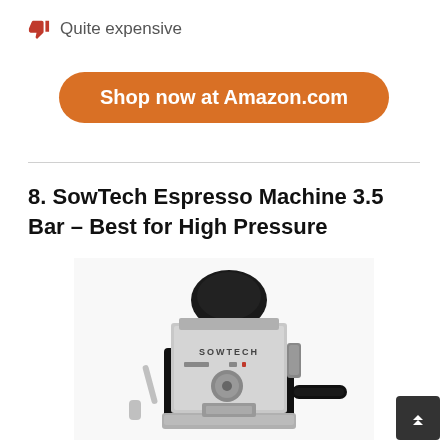Quite expensive
Shop now at Amazon.com
8. SowTech Espresso Machine 3.5 Bar – Best for High Pressure
[Figure (photo): Photo of SowTech espresso machine, silver and black, with steam wand and portafilter handle visible, SOWTECH branding on front panel]